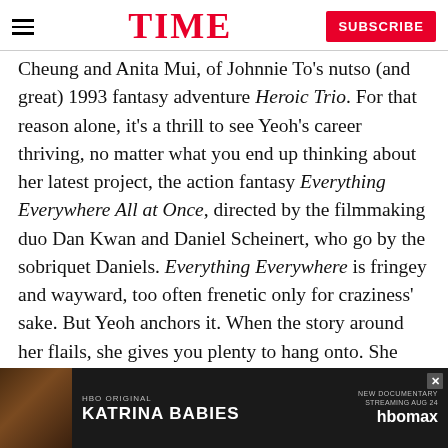TIME — SUBSCRIBE
Cheung and Anita Mui, of Johnnie To's nutso (and great) 1993 fantasy adventure Heroic Trio. For that reason alone, it's a thrill to see Yeoh's career thriving, no matter what you end up thinking about her latest project, the action fantasy Everything Everywhere All at Once, directed by the filmmaking duo Dan Kwan and Daniel Scheinert, who go by the sobriquet Daniels. Everything Everywhere is fringey and wayward, too often frenetic only for craziness' sake. But Yeoh anchors it. When the story around her flails, she gives you plenty to hang onto. She may have begun her career as an action star, but she also has a face that holds...
[Figure (other): Advertisement banner for HBO Original documentary 'Katrina Babies', streaming on HBO Max]